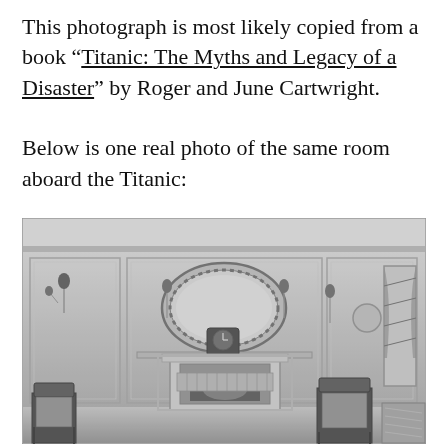This photograph is most likely copied from a book “Titanic: The Myths and Legacy of a Disaster” by Roger and June Cartwright.

Below is one real photo of the same room aboard the Titanic:
[Figure (photo): Black and white photograph of an elegant first-class room aboard the Titanic, showing a fireplace with decorative mantelpiece, an oval mirror flanked by wall sconces, a clock on the mantel, paneled walls, a curtained window on the right, and chairs in the foreground.]